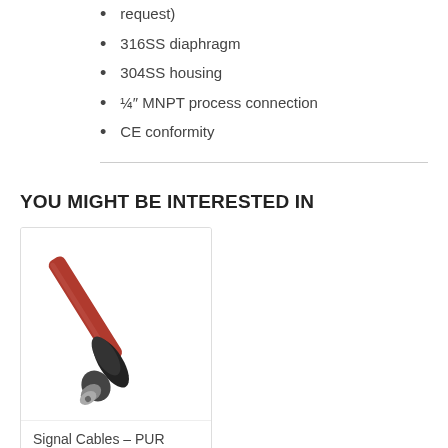request)
316SS diaphragm
304SS housing
¼″ MNPT process connection
CE conformity
YOU MIGHT BE INTERESTED IN
[Figure (photo): Signal cable with red PUR jacket and black M12 connector on one end]
Signal Cables – PUR
From: $39.50